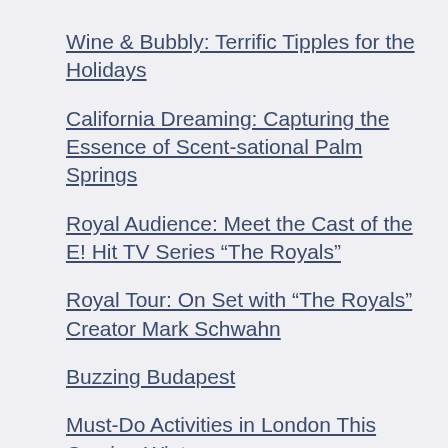Wine & Bubbly: Terrific Tipples for the Holidays
California Dreaming: Capturing the Essence of Scent-sational Palm Springs
Royal Audience: Meet the Cast of the E! Hit TV Series “The Royals”
Royal Tour: On Set with “The Royals” Creator Mark Schwahn
Buzzing Budapest
Must-Do Activities in London This Coming Winter
St. John: The Wild Child of the Caribbean
5 Festivals You Must Visit if You’re